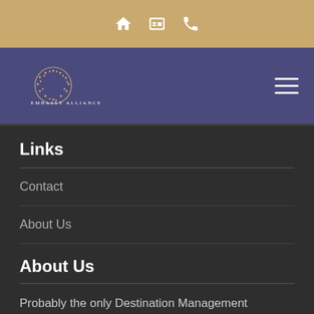Embassy Alliance website header with home, contact card, and phone icons
[Figure (logo): Embassy Alliance logo with globe icon and text on purple navigation bar]
Links
Contact
About Us
About Us
Probably the only Destination Management Company in Dubai-UAE, Singapore & Malaysia